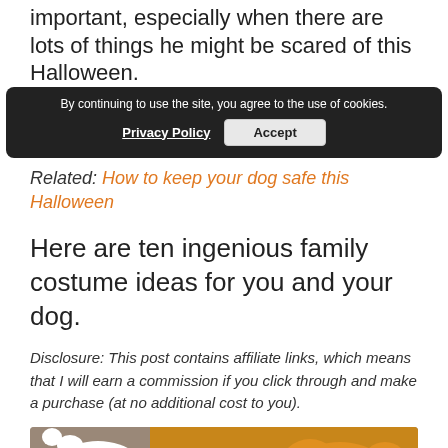important, especially when there are lots of things he might be scared of this Halloween.
By continuing to use the site, you agree to the use of cookies. Privacy Policy  Accept
Related: How to keep your dog safe this Halloween
Here are ten ingenious family costume ideas for you and your dog.
Disclosure: This post contains affiliate links, which means that I will earn a commission if you click through and make a purchase (at no additional cost to you).
[Figure (photo): Photo of dog with Halloween costume props - speech bubble saying TRICK OR TREAT? with orange and dark bat/pumpkin decorations]